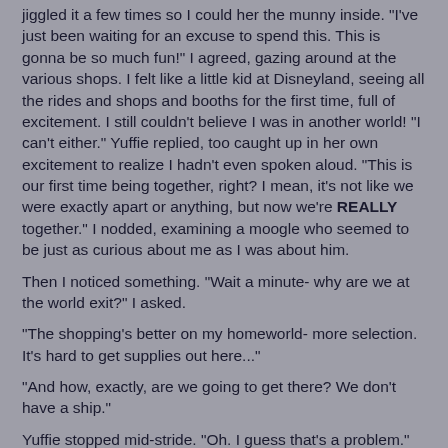jiggled it a few times so I could her the munny inside. "I've just been waiting for an excuse to spend this. This is gonna be so much fun!" I agreed, gazing around at the various shops. I felt like a little kid at Disneyland, seeing all the rides and shops and booths for the first time, full of excitement. I still couldn't believe I was in another world! "I can't either." Yuffie replied, too caught up in her own excitement to realize I hadn't even spoken aloud. "This is our first time being together, right? I mean, it's not like we were exactly apart or anything, but now we're REALLY together." I nodded, examining a moogle who seemed to be just as curious about me as I was about him.
Then I noticed something. "Wait a minute- why are we at the world exit?" I asked.
"The shopping's better on my homeworld- more selection. It's hard to get supplies out here..."
"And how, exactly, are we going to get there? We don't have a ship."
Yuffie stopped mid-stride. "Oh. I guess that's a problem." She grinned sheepishly.
"Why don't we visit Cid?" I suggested. "He'll probably have some ideas."
"Okay, it's better than sitting around scratching our heads." With that, we headed for the accessory shop.
Cid was at his usual post overlooking the alley. "Hiya' Cid!" Yuffie called out as we approached.